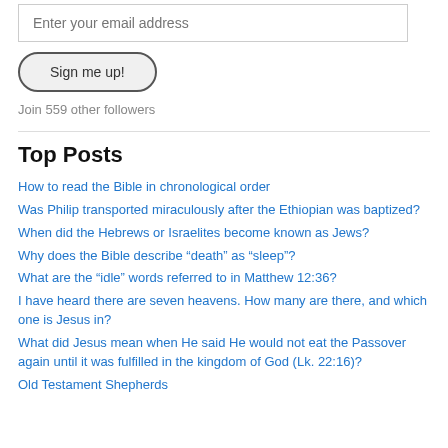[Figure (other): Email input field with placeholder text 'Enter your email address']
[Figure (other): Button labeled 'Sign me up!' with rounded pill shape]
Join 559 other followers
Top Posts
How to read the Bible in chronological order
Was Philip transported miraculously after the Ethiopian was baptized?
When did the Hebrews or Israelites become known as Jews?
Why does the Bible describe “death” as “sleep”?
What are the “idle” words referred to in Matthew 12:36?
I have heard there are seven heavens. How many are there, and which one is Jesus in?
What did Jesus mean when He said He would not eat the Passover again until it was fulfilled in the kingdom of God (Lk. 22:16)?
Old Testament Shepherds